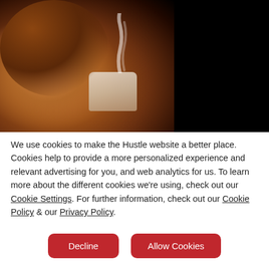[Figure (photo): A woman with curly hair holding a steaming white coffee cup close to her face, eyes closed, against a dark/black background. Warm brown tones on the left side.]
We use cookies to make the Hustle website a better place. Cookies help to provide a more personalized experience and relevant advertising for you, and web analytics for us. To learn more about the different cookies we're using, check out our Cookie Settings. For further information, check out our Cookie Policy & our Privacy Policy.
Decline
Allow Cookies